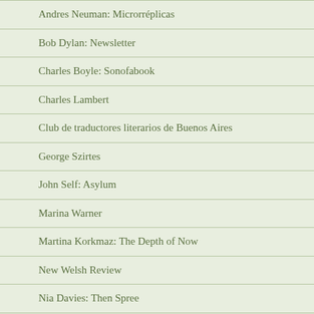Andres Neuman: Microrréplicas
Bob Dylan: Newsletter
Charles Boyle: Sonofabook
Charles Lambert
Club de traductores literarios de Buenos Aires
George Szirtes
John Self: Asylum
Marina Warner
Martina Korkmaz: The Depth of Now
New Welsh Review
Nia Davies: Then Spree
Otra iglesia es imposible
Panfilocastaldi